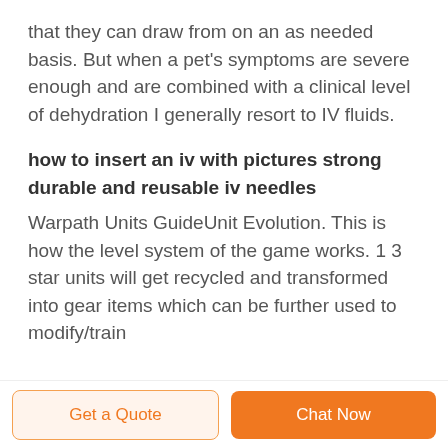that they can draw from on an as needed basis. But when a pet's symptoms are severe enough and are combined with a clinical level of dehydration I generally resort to IV fluids.
how to insert an iv with pictures strong durable and reusable iv needles
Warpath Units GuideUnit Evolution. This is how the level system of the game works. 1 3 star units will get recycled and transformed into gear items which can be further used to modify/train
Get a Quote | Chat Now